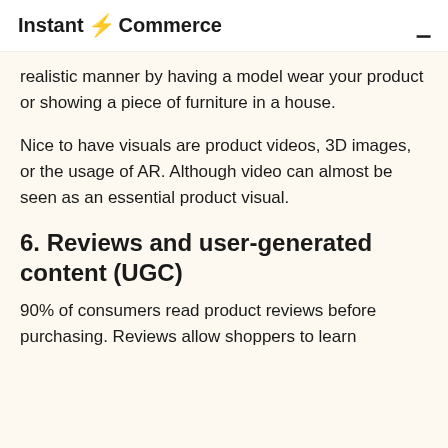Instant ⚡ Commerce
realistic manner by having a model wear your product or showing a piece of furniture in a house.
Nice to have visuals are product videos, 3D images, or the usage of AR. Although video can almost be seen as an essential product visual.
6. Reviews and user-generated content (UGC)
90% of consumers read product reviews before purchasing. Reviews allow shoppers to learn